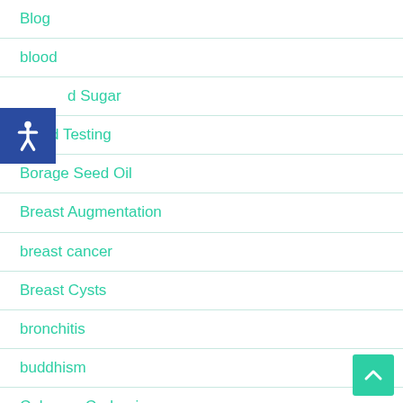Blog
blood
Blood Sugar
Blood Testing
Borage Seed Oil
Breast Augmentation
breast cancer
Breast Cysts
bronchitis
buddhism
Calcarea Carbonica
cancer
Candida